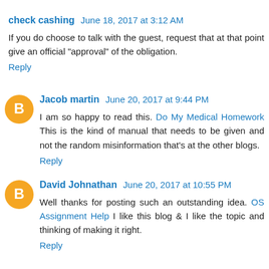check cashing  June 18, 2017 at 3:12 AM
If you do choose to talk with the guest, request that at that point give an official "approval" of the obligation.
Reply
Jacob martin  June 20, 2017 at 9:44 PM
I am so happy to read this. Do My Medical Homework This is the kind of manual that needs to be given and not the random misinformation that's at the other blogs.
Reply
David Johnathan  June 20, 2017 at 10:55 PM
Well thanks for posting such an outstanding idea. OS Assignment Help I like this blog & I like the topic and thinking of making it right.
Reply